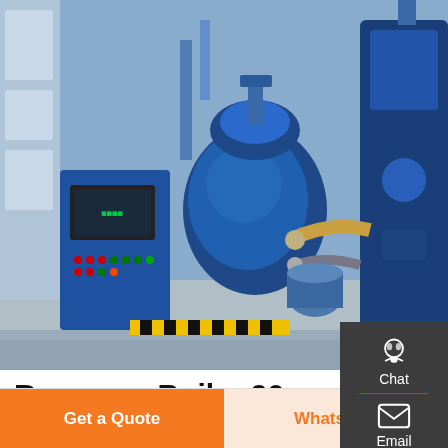[Figure (photo): Industrial waste heat recovery boiler equipment in blue, photographed in a factory setting with pipes, control panel, and machinery.]
Recovery Boiler 90 Bar
Waste Heat Recovery BoilerWASTE HEAT RECOVERY SYSTEMS Transparent Energy Systems Pvt. Ltd. Pune-37. (INDIA) Tel : 020 –24211347, Fax: 020 –24212533. E-mail : trans@pn2.vsnl.net.in& sales One 1-20 ton gas/oil fired boiler Capacity: 1-20 ton/h
GET A QUOTE
Get a Quote
WhatsApp